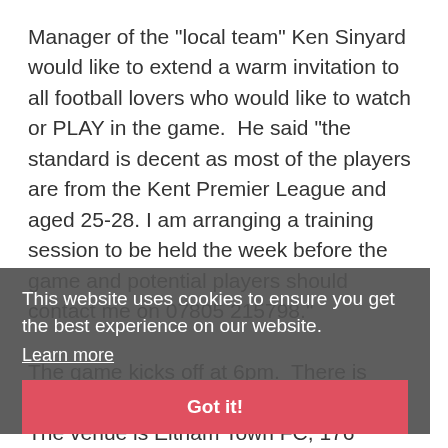Manager of the "local team" Ken Sinyard would like to extend a warm invitation to all football lovers who would like to watch or PLAY in the game.  He said "the standard is decent as most of the players are from the Kent Premier League and aged 25-28. I am arranging a training session to be held the week before the game and potential players should contact me on 07805 215798."
The game kicks off at 6pm.  There is ample parking and there are two bars.  The venue is Eltham Town FC, 176 Footscray Rd, SE9 2TD
This website uses cookies to ensure you get the best experience on our website.
Learn more
Got it!
The guy third from the right in the scruffy jeans is unlikely to play but there may be special guests